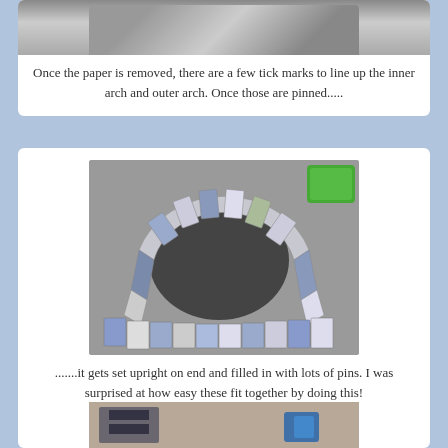[Figure (photo): Partial photo at top of page showing a quilting or sewing project, cropped]
Once the paper is removed, there are a few tick marks to line up the inner arch and outer arch. Once those are pinned.....
[Figure (photo): Photo of a circular arch quilt block laid flat on a grey surface, showing the curved ring of fabric pieces assembled together, with some extra pieces laid out beside it. A green container is visible in the upper right.]
.......it gets set upright on end and filled in with lots of pins. I was surprised at how easy these fit together by doing this!
[Figure (photo): Partial photo at bottom of page showing what appears to be a sewing machine or quilting tools on a work surface, cropped]